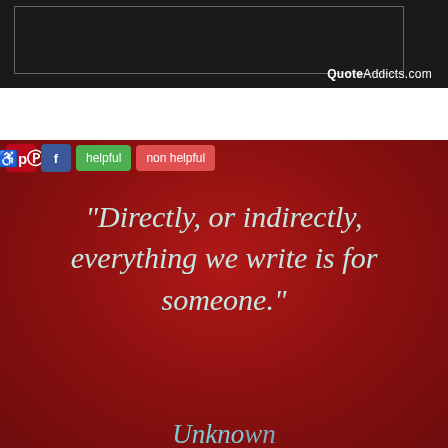[Figure (screenshot): Top dark banner with inner white frame border and QuoteAddicts.com watermark in bottom right]
[Figure (illustration): Red textured background quote card with toolbar buttons (Pinterest, Facebook, helpful, non helpful) and italic quote text: "Directly, or indirectly, everything we write is for someone." with 'Unknown' attribution partially visible at bottom]